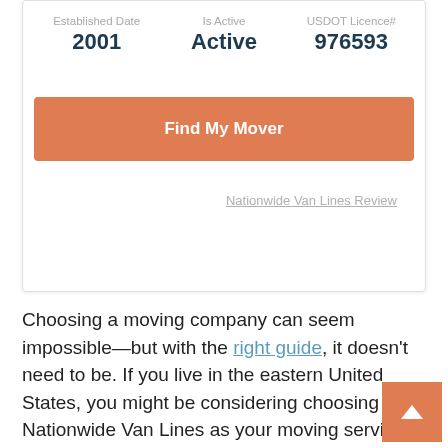| Established Date | Is Active | USDOT Licence# |
| --- | --- | --- |
| 2001 | Active | 976593 |
Find My Mover
Nationwide Van Lines Review
Choosing a moving company can seem impossible—but with the right guide, it doesn't need to be. If you live in the eastern United States, you might be considering choosing Nationwide Van Lines as your moving service provider. But how does this company measure up to competitors?